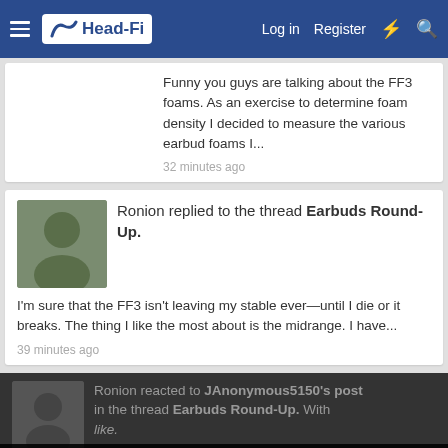Head-Fi | Log in | Register
Funny you guys are talking about the FF3 foams. As an exercise to determine foam density I decided to measure the various earbud foams I...
32 minutes ago
Ronion replied to the thread Earbuds Round-Up.
I'm sure that the FF3 isn't leaving my stable ever—until I die or it breaks. The thing I like the most about is the midrange. I have...
39 minutes ago
Ronion reacted to JAnonymous5150's post in the thread Earbuds Round-Up. With like.
try other foams. Also, I don't find them shouty at all with the donut foams. I'm not disagreeing with you as that perception is a highly...
This site uses cookies to help personalise content, tailor your experience and to keep you logged in if you register. By continuing to use this site, you are consenting to our use of cookies.